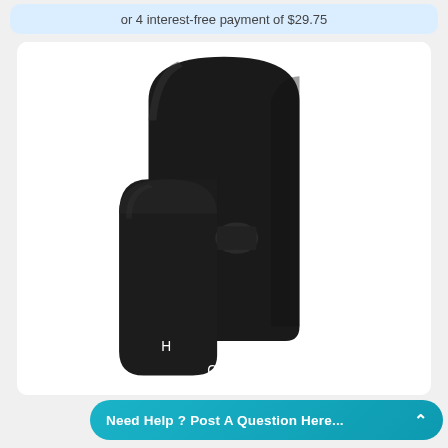or 4 interest-free payment of $29.75
[Figure (photo): Matte black wall-mounted shower/bath mixer tap with lever handle, shown against white background. The handle is labeled H (hot) and C (cold). Modern minimalist design with arched backplate.]
Need Help ? Post A Question Here...